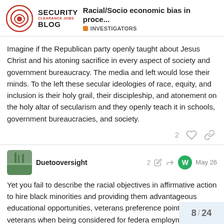Racial/Socio economic bias in proce... | INVESTIGATORS | Security Clearance Jobs Blog
Imagine if the Republican party openly taught about Jesus Christ and his atoning sacrifice in every aspect of society and government bureaucracy. The media and left would lose their minds. To the left these secular ideologies of race, equity, and inclusion is their holy grail, their discipleship, and atonement on the holy altar of secularism and they openly teach it in schools, government bureaucracies, and society.
Duetooversight  2  May 26
Yet you fail to describe the racial objectives in affirmative action to hire black minorities and providing them advantageous educational opportunities, veterans preference points to veterans when being considered for federa employment, and permanent status federa